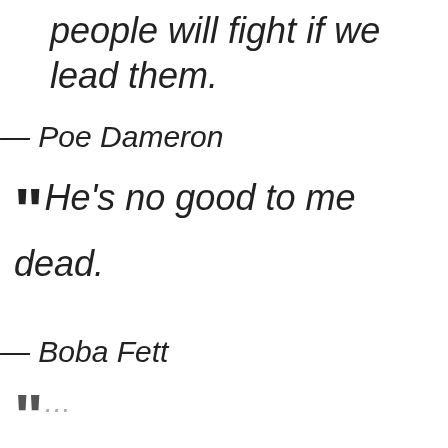people will fight if we lead them.
— Poe Dameron
“He’s no good to me dead.
— Boba Fett
“...